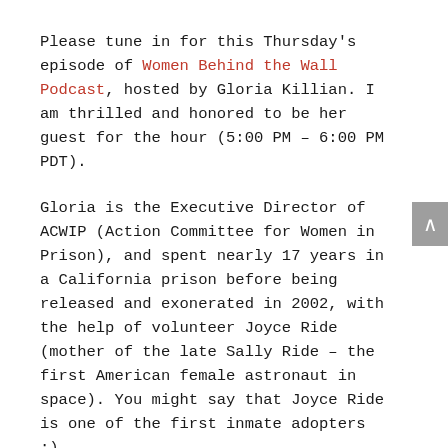Please tune in for this Thursday's episode of Women Behind the Wall Podcast, hosted by Gloria Killian. I am thrilled and honored to be her guest for the hour (5:00 PM – 6:00 PM PDT).
Gloria is the Executive Director of ACWIP (Action Committee for Women in Prison), and spent nearly 17 years in a California prison before being released and exonerated in 2002, with the help of volunteer Joyce Ride (mother of the late Sally Ride – the first American female astronaut in space). You might say that Joyce Ride is one of the first inmate adopters :).